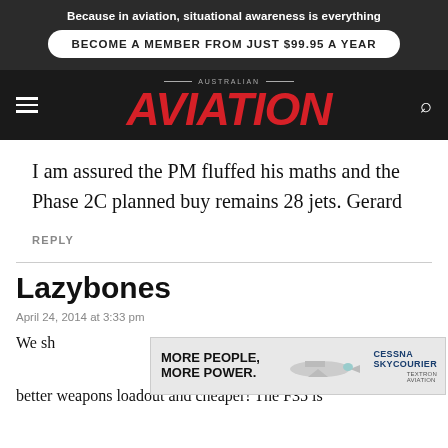Because in aviation, situational awareness is everything
BECOME A MEMBER FROM JUST $99.95 A YEAR
AUSTRALIAN AVIATION
I am assured the PM fluffed his maths and the Phase 2C planned buy remains 28 jets. Gerard
REPLY
Lazybones
April 24, 2014 at 3:33 pm
We sh... agile better weapons loadout and cheaper! The F35 is
[Figure (photo): Advertisement banner: MORE PEOPLE, MORE POWER. Cessna SkyCourier aircraft image with Cessna and Textron Aviation branding.]